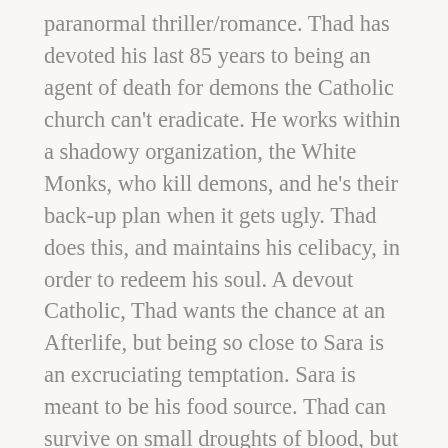paranormal thriller/romance. Thad has devoted his last 85 years to being an agent of death for demons the Catholic church can't eradicate. He works within a shadowy organization, the White Monks, who kill demons, and he's their back-up plan when it gets ugly. Thad does this, and maintains his celibacy, in order to redeem his soul. A devout Catholic, Thad wants the chance at an Afterlife, but being so close to Sara is an excruciating temptation. Sara is meant to be his food source. Thad can survive on small droughts of blood, but he only wants female vessels because they don't arouse him. Plus, Thad's compulsion powers don't seem to work very well on Sara. Sara's invading Thad's mind, too, which is deeply unsettling.
Thad doesn't...